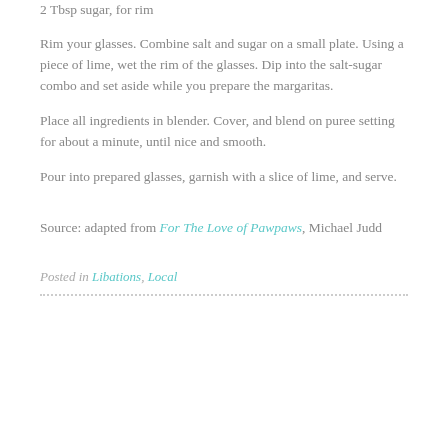2 Tbsp sugar, for rim
Rim your glasses. Combine salt and sugar on a small plate. Using a piece of lime, wet the rim of the glasses. Dip into the salt-sugar combo and set aside while you prepare the margaritas.
Place all ingredients in blender. Cover, and blend on puree setting for about a minute, until nice and smooth.
Pour into prepared glasses, garnish with a slice of lime, and serve.
Source: adapted from For The Love of Pawpaws, Michael Judd
Posted in Libations, Local